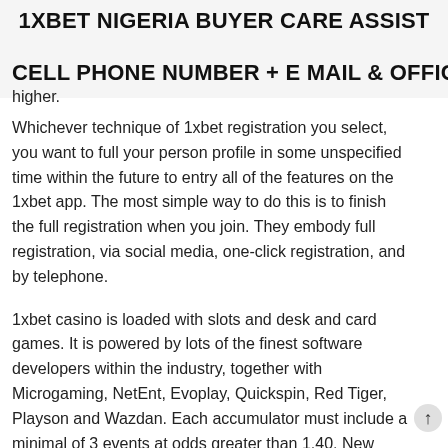1XBET NIGERIA BUYER CARE ASSIST CELL PHONE NUMBER + E MAIL & OFFICE
higher.
Whichever technique of 1xbet registration you select, you want to full your person profile in some unspecified time within the future to entry all of the features on the 1xbet app. The most simple way to do this is to finish the full registration when you join. They embody full registration, via social media, one-click registration, and by telephone.
1xbet casino is loaded with slots and desk and card games. It is powered by lots of the finest software developers within the industry, together with Microgaming, NetEnt, Evoplay, Quickspin, Red Tiger, Playson and Wazdan. Each accumulator must include a minimal of 3 events at odds greater than 1.40. New customers are eligible to obtain just one welcome bonus